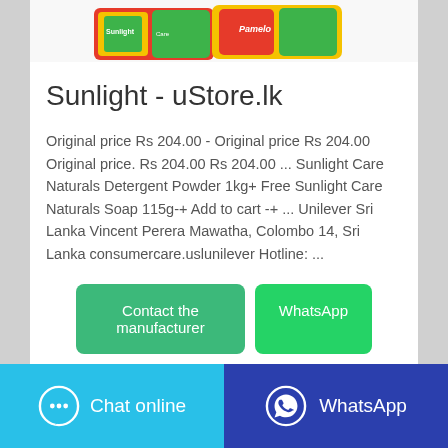[Figure (photo): Product image of Sunlight detergent/soap bars with colorful packaging (green, red, yellow), partially visible at top of card.]
Sunlight - uStore.lk
Original price Rs 204.00 - Original price Rs 204.00 Original price. Rs 204.00 Rs 204.00 ... Sunlight Care Naturals Detergent Powder 1kg+ Free Sunlight Care Naturals Soap 115g-+ Add to cart -+ ... Unilever Sri Lanka Vincent Perera Mawatha, Colombo 14, Sri Lanka consumercare.uslunilever Hotline: ...
Contact the manufacturer
WhatsApp
Chat online
WhatsApp